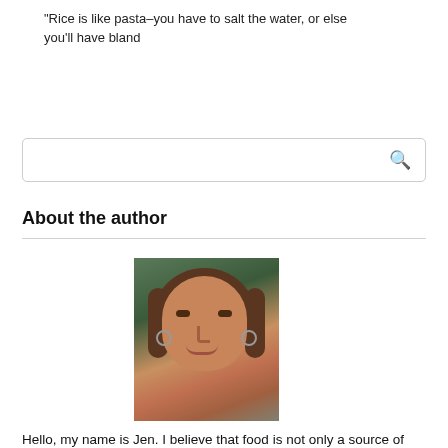"Rice is like pasta–you have to salt the water, or else you'll have bland
[Figure (other): Search box input field with magnifying glass icon on the right]
About the author
[Figure (photo): Portrait photo of a woman with brown hair, hoop earrings, looking directly at camera]
Hello, my name is Jen. I believe that food is not only a source of energy, but also a whole art. In my blog, you will